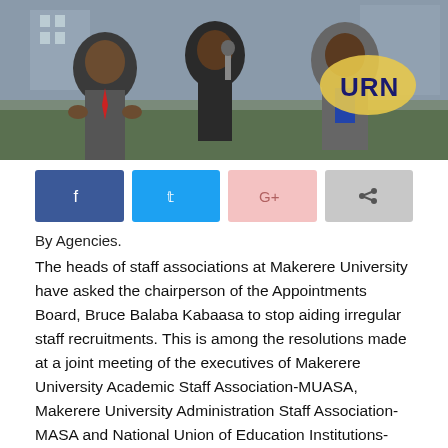[Figure (photo): Three men in suits at a press conference outdoors, one speaking into a microphone, with a URN logo watermark overlay]
[Figure (infographic): Social sharing buttons: Facebook (blue), Twitter (light blue), Google+ (pink), Share (grey)]
By Agencies.
The heads of staff associations at Makerere University have asked the chairperson of the Appointments Board, Bruce Balaba Kabaasa to stop aiding irregular staff recruitments. This is among the resolutions made at a joint meeting of the executives of Makerere University Academic Staff Association-MUASA, Makerere University Administration Staff Association-MASA and National Union of Education Institutions-NUEI for support staff held on